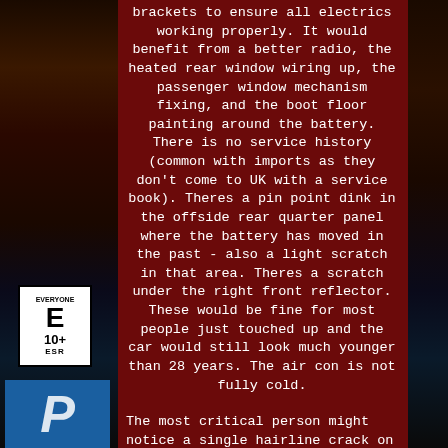brackets to ensure all electrics working properly. It would benefit from a better radio, the heated rear window wiring up, the passenger window mechanism fixing, and the boot floor painting around the battery. There is no service history (common with imports as they don't come to UK with a service book). Theres a pin point dink in the offside rear quarter panel where the battery has moved in the past - also a light scratch in that area. Theres a scratch under the right front reflector. These would be fine for most people just touched up and the car would still look much younger than 28 years. The air con is not fully cold.
The most critical person might notice a single hairline crack on the dash and one on the tombstone. There will be minor marks around the car such as you will get with any relatively old